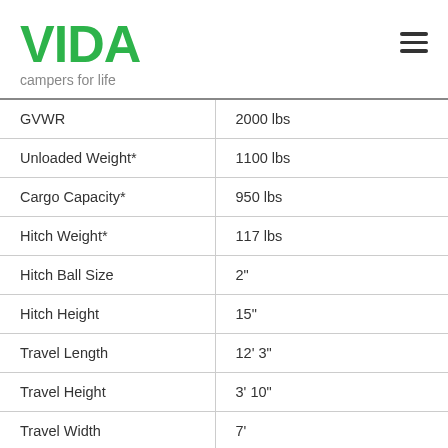[Figure (logo): VIDA campers for life logo in green]
| Specification | Value |
| --- | --- |
| GVWR | 2000 lbs |
| Unloaded Weight* | 1100 lbs |
| Cargo Capacity* | 950 lbs |
| Hitch Weight* | 117 lbs |
| Hitch Ball Size | 2" |
| Hitch Height | 15" |
| Travel Length | 12' 3" |
| Travel Height | 3' 10" |
| Travel Width | 7' |
| Ground Clearance (Ground | 7.5" |